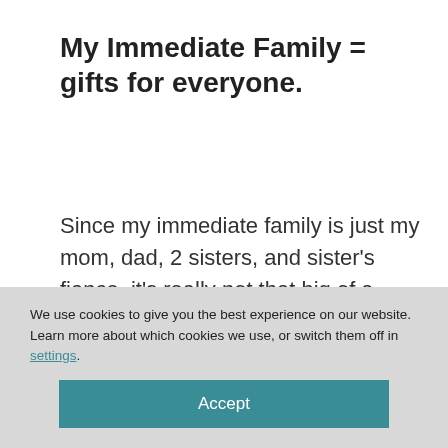My Immediate Family = gifts for everyone.
Since my immediate family is just my mom, dad, 2 sisters, and sister's fiance, it's really not that big of a deal to buy a gift for everyone. We don't go overboard and usually go in
Christmas morning... and then we waited until later on Christmas
We use cookies to give you the best experience on our website.
Learn more about which cookies we use, or switch them off in settings.
Accept